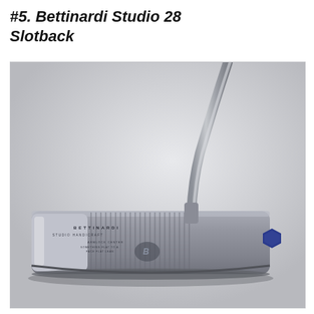#5. Bettinardi Studio 28 Slotback
[Figure (photo): A Bettinardi Studio 28 Slotback putter photographed against a light gray background. The putter head is silver/steel colored with horizontal milling lines across the face and back. It features a blue hexagonal medallion on the heel. The shaft curves upward to the right. The word BETTINARDI is visible on the body of the putter along with additional branding text.]